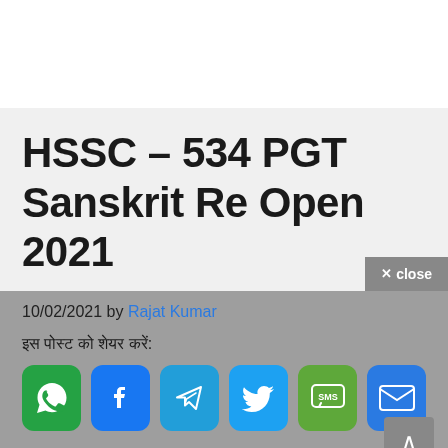HSSC – 534 PGT Sanskrit Re Open 2021
10/02/2021 by Rajat Kumar
इस पोस्ट को शेयर करें:
[Figure (infographic): Social share buttons: WhatsApp, Facebook, Telegram, Twitter, SMS, Email]